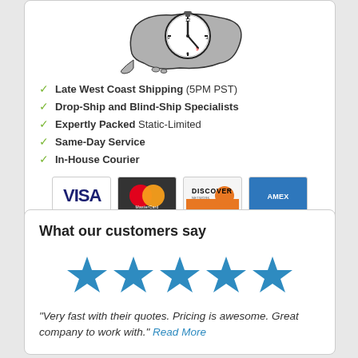[Figure (illustration): Clock overlaid on a map silhouette of the United States]
Late West Coast Shipping (5PM PST)
Drop-Ship and Blind-Ship Specialists
Expertly Packed Static-Limited
Same-Day Service
In-House Courier
[Figure (logo): Payment card logos: VISA, MasterCard, Discover, American Express]
What our customers say
[Figure (infographic): Five blue stars rating]
“Very fast with their quotes. Pricing is awesome. Great company to work with.” Read More